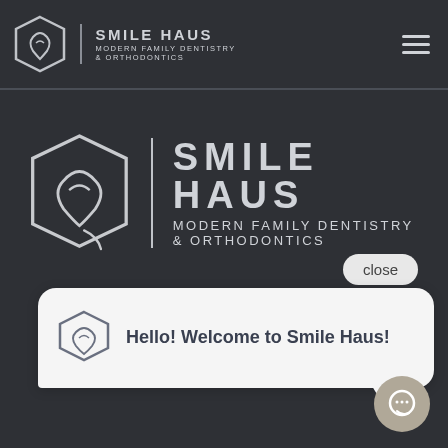[Figure (screenshot): Smile Haus website screenshot showing a dark-themed dental website with navigation bar containing the Smile Haus logo and hamburger menu, a large centered logo area, a chat popup saying 'Hello! Welcome to Smile Haus!', and a chat toggle button.]
SMILE HAUS
MODERN FAMILY DENTISTRY & ORTHODONTICS
Hello! Welcome to Smile Haus!